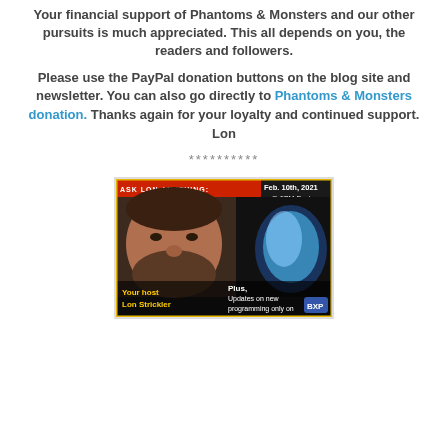Your financial support of Phantoms & Monsters and our other pursuits is much appreciated. This all depends on you, the readers and followers.
Please use the PayPal donation buttons on the blog site and newsletter. You can also go directly to Phantoms & Monsters donation. Thanks again for your loyalty and continued support. Lon
**********
[Figure (photo): A promotional image for 'Ask Lon Anything' show. Shows a man's face on the left side with text 'Your host Lon Strickler' and 'Plus, Updates on new programming only on BXP'. Date shown: Feb. 10th, 2021 @ 9PM Eastern.]